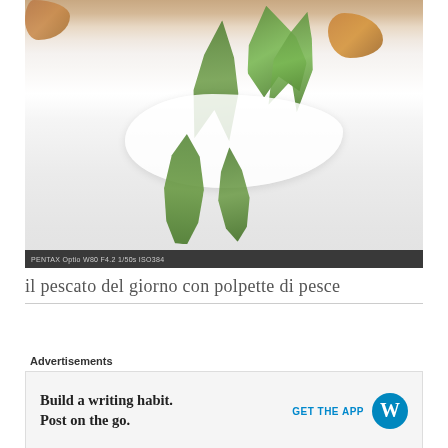[Figure (photo): Food photography showing a plated fish dish with white delicate fennel or onion slices and fresh green herbs (dill and rosemary) on a white background, with a browned fish cake or patty visible. EXIF data shown at the bottom: PENTAX Optio W80 F4.2 1/50s ISO384]
il pescato del giorno con polpette di pesce
Advertisements
Build a writing habit.
Post on the go.
GET THE APP